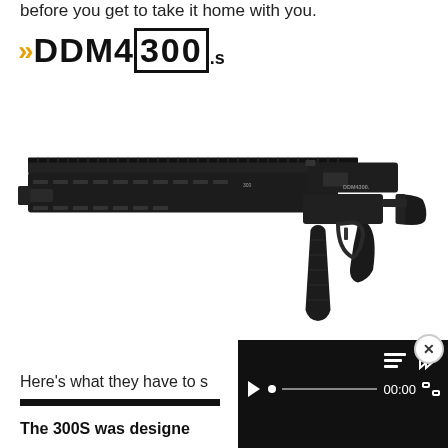before you get to take it home with you.
» DDM4300.s
[Figure (photo): Black DDM4 300 series AR-style rifle with quad rail handguard, 30-round magazine, and collapsible stock, shown on white background]
Here's what they have to s
[Figure (screenshot): Black video player overlay showing play button, progress bar with dot indicator, 00:00 timecode, and fullscreen icon. Close button (x) in circle at top right.]
The 300S was designe